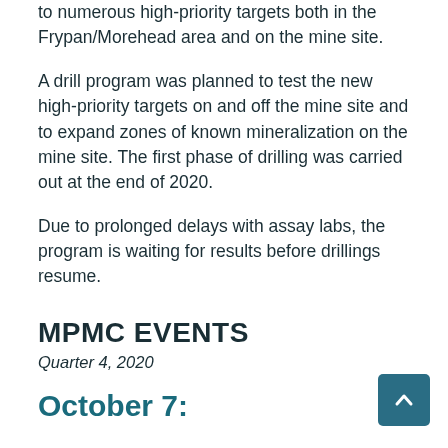to numerous high-priority targets both in the Frypan/Morehead area and on the mine site.
A drill program was planned to test the new high-priority targets on and off the mine site and to expand zones of known mineralization on the mine site. The first phase of drilling was carried out at the end of 2020.
Due to prolonged delays with assay labs, the program is waiting for results before drillings resume.
MPMC EVENTS
Quarter 4, 2020
October 7: